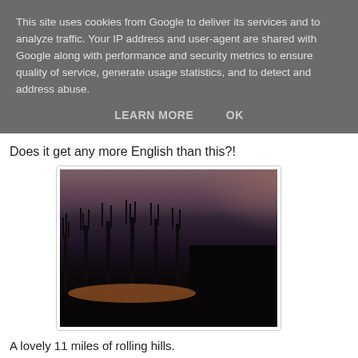This site uses cookies from Google to deliver its services and to analyze traffic. Your IP address and user-agent are shared with Google along with performance and security metrics to ensure quality of service, generate usage statistics, and to detect and address abuse.
LEARN MORE    OK
Does it get any more English than this?!
[Figure (photo): Dark twilight landscape photo showing silhouettes of bare trees against a dusky sky with warm glow near the horizon, and a dark building silhouette on the right.]
A lovely 11 miles of rolling hills.